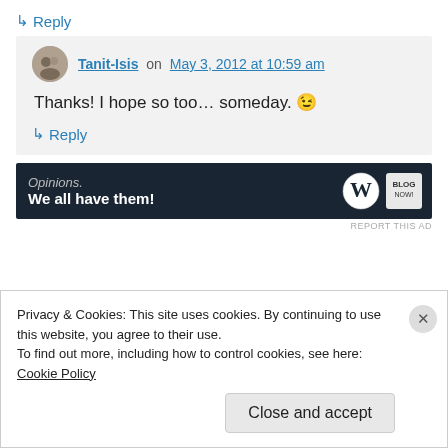↳ Reply
Tanit-Isis on May 3, 2012 at 10:59 am
Thanks! I hope so too… someday. 😉
↳ Reply
[Figure (screenshot): WordPress advertisement banner: 'Opinions. We all have them!' with WordPress and blog logos on dark navy background]
REPORT THIS AD
Privacy & Cookies: This site uses cookies. By continuing to use this website, you agree to their use.
To find out more, including how to control cookies, see here: Cookie Policy
Close and accept